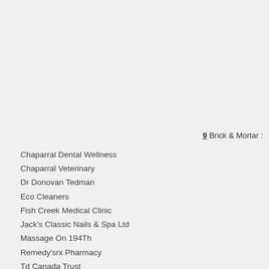9 Brick & Mortar :
Chaparral Dental Wellness
Chaparral Veterinary
Dr Donovan Tedman
Eco Cleaners
Fish Creek Medical Clinic
Jack's Classic Nails & Spa Ltd
Massage On 194Th
Remedy'srx Pharmacy
Td Canada Trust